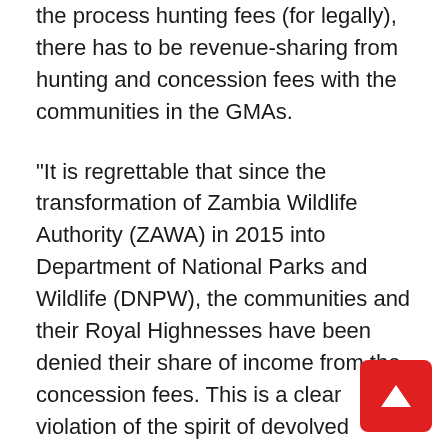the process hunting fees (for legally), there has to be revenue-sharing from hunting and concession fees with the communities in the GMAs.
“It is regrettable that since the transformation of Zambia Wildlife Authority (ZAWA) in 2015 into Department of National Parks and Wildlife (DNPW), the communities and their Royal Highnesses have been denied their share of income from the concession fees. This is a clear violation of the spirit of devolved wildlife governance. Their Royal Highnesses and CRBs should actually have been retaining the 100% of the concession fees as they are owners of the customary land,” the statement read.